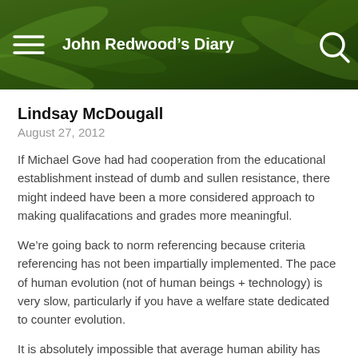[Figure (photo): Header banner with green foliage/plant leaves background and site navigation including hamburger menu, site title 'John Redwood's Diary', and search icon]
John Redwood's Diary
Lindsay McDougall
August 27, 2012
If Michael Gove had had cooperation from the educational establishment instead of dumb and sullen resistance, there might indeed have been a more considered approach to making qualifacations and grades more meaningful.
We're going back to norm referencing because criteria referencing has not been implemented. The pace of human evolution (not of human beings + technology) is very slow, particularly if you have a welfare state dedicated to counter evolution.
It is absolutely impossible that average human ability has